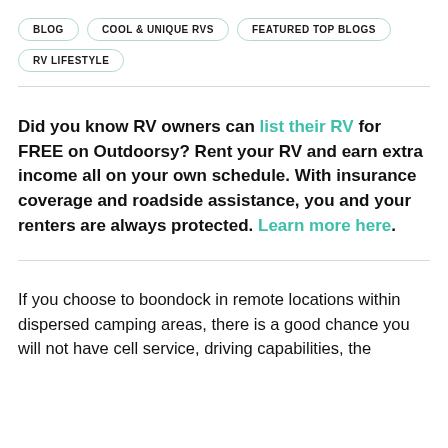BLOG
COOL & UNIQUE RVS
FEATURED TOP BLOGS
RV LIFESTYLE
Did you know RV owners can list their RV for FREE on Outdoorsy? Rent your RV and earn extra income all on your own schedule. With insurance coverage and roadside assistance, you and your renters are always protected. Learn more here.
If you choose to boondock in remote locations within dispersed camping areas, there is a good chance you will not have cell service, driving capabilities, the...